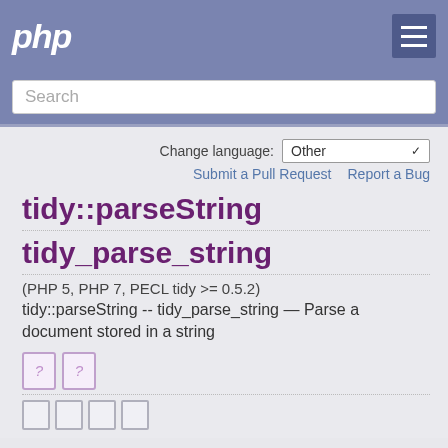php
Search
Change language: Other
Submit a Pull Request   Report a Bug
tidy::parseString
tidy_parse_string
(PHP 5, PHP 7, PECL tidy >= 0.5.2)
tidy::parseString -- tidy_parse_string — Parse a document stored in a string
[Figure (other): Two PHP document icon placeholders with question marks]
[Figure (other): Four small PHP icon placeholders at bottom]